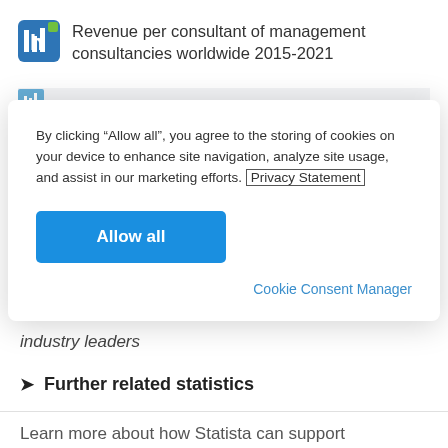Revenue per consultant of management consultancies worldwide 2015-2021
By clicking “Allow all”, you agree to the storing of cookies on your device to enhance site navigation, analyze site usage, and assist in our marketing efforts. Privacy Statement
Allow all
Cookie Consent Manager
industry leaders
Further related statistics
Learn more about how Statista can support